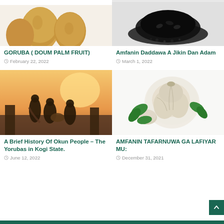[Figure (photo): Doum palm fruits (goruba) — round golden-brown fruits on white background]
GORUBA ( DOUM PALM FRUIT)
February 22, 2022
[Figure (photo): Black seeds/daddawa (locust beans) piled on white background]
Amfanin Daddawa A Jikin Dan Adam
March 1, 2022
[Figure (photo): African musicians/drummers in traditional attire at sunset]
A Brief History Of Okun People – The Yorubas in Kogi State.
June 12, 2022
[Figure (photo): Garlic bulbs with parsley leaves on white background]
AMFANIN TAFARNUWA GA LAFIYAR MU:
December 31, 2021